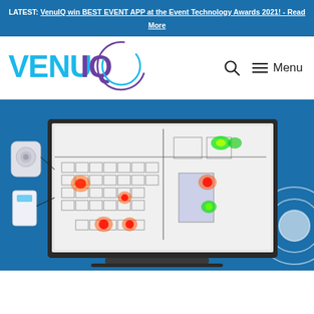LATEST: VenuIQ win BEST EVENT APP at the Event Technology Awards 2021! - Read More
[Figure (logo): VenuIQ logo with circular arc in purple and teal, text VENUIQ in teal and purple]
🔍   ☰ Menu
[Figure (illustration): Hero image showing a monitor/laptop display with a venue floor plan heatmap showing red/green hotspots indicating visitor density. On the left side are hardware devices (a sensor and a badge). The background is blue with white concentric circle graphic on the right.]